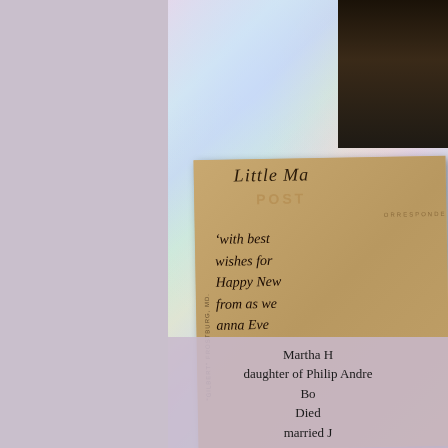[Figure (photo): Dark photographic image in top right corner, appears to be a historical portrait or figure photograph with very dark tones]
[Figure (photo): Antique postcard back showing handwritten message in cursive: 'with best wishes for Happy New [Year] from as [we?] Anna Eve[lyn?]' with printed text 'Little M[a] POST CORRESPONDENCE' and vertical text 'GILBERT FROSTBURG MD']
Martha H
daughter of Philip Andre
Bo
Died
married J